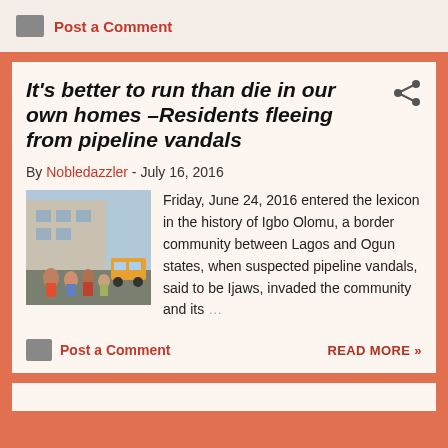Post a Comment
It's better to run than die in our own homes –Residents fleeing from pipeline vandals
By Nobledazzler - July 16, 2016
Friday, June 24, 2016 entered the lexicon in the history of Igbo Olomu, a border community between Lagos and Ogun states, when suspected pipeline vandals, said to be Ijaws, invaded the community and its …
Post a Comment
READ MORE »